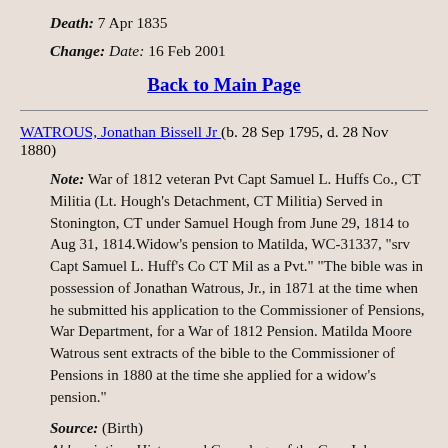Death: 7 Apr 1835
Change: Date: 16 Feb 2001
Back to Main Page
WATROUS, Jonathan Bissell Jr (b. 28 Sep 1795, d. 28 Nov 1880)
Note: War of 1812 veteran Pvt Capt Samuel L. Huffs Co., CT Militia (Lt. Hough's Detachment, CT Militia) Served in Stonington, CT under Samuel Hough from June 29, 1814 to Aug 31, 1814.Widow's pension to Matilda, WC-31337, "srv Capt Samuel L. Huff's Co CT Mil as a Pvt." "The bible was in possession of Jonathan Watrous, Jr., in 1871 at the time when he submitted his application to the Commissioner of Pensions, War Department, for a War of 1812 Pension. Matilda Moore Watrous sent extracts of the bible to the Commissioner of Pensions in 1880 at the time she applied for a widow's pension."
Source: (Birth)
Abbreviation: History and Genealogy of the Gov. John